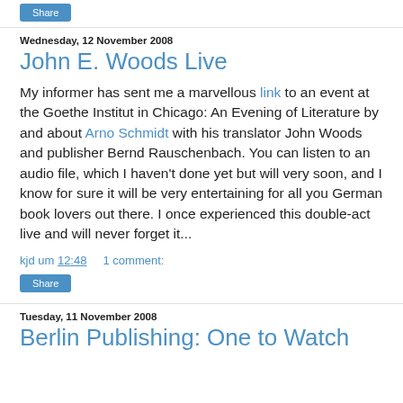Share
Wednesday, 12 November 2008
John E. Woods Live
My informer has sent me a marvellous link to an event at the Goethe Institut in Chicago: An Evening of Literature by and about Arno Schmidt with his translator John Woods and publisher Bernd Rauschenbach. You can listen to an audio file, which I haven't done yet but will very soon, and I know for sure it will be very entertaining for all you German book lovers out there. I once experienced this double-act live and will never forget it...
kjd um 12:48    1 comment:
Share
Tuesday, 11 November 2008
Berlin Publishing: One to Watch